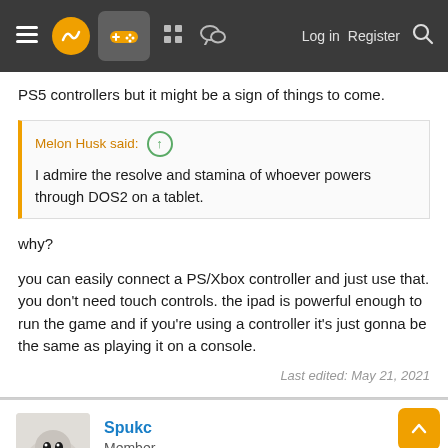Navigation bar with menu, logo, controller icon, grid, chat, Log in, Register, Search
PS5 controllers but it might be a sign of things to come.
Melon Husk said: ↑
I admire the resolve and stamina of whoever powers through DOS2 on a tablet.
why?
you can easily connect a PS/Xbox controller and just use that. you don't need touch controls. the ipad is powerful enough to run the game and if you're using a controller it's just gonna be the same as playing it on a console.
Last edited: May 21, 2021
Spukc
Member